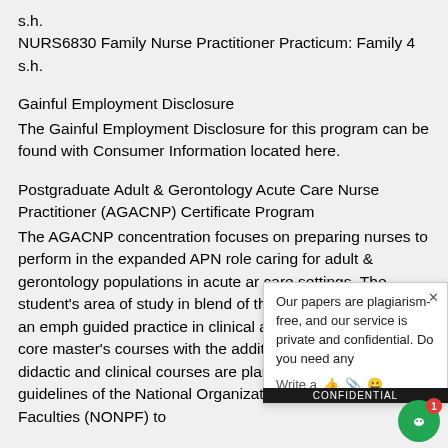s.h.
NURS6830 Family Nurse Practitioner Practicum: Family 4 s.h.
Gainful Employment Disclosure
The Gainful Employment Disclosure for this program can be found with Consumer Information located here.
Postgraduate Adult & Gerontology Acute Care Nurse Practitioner (AGACNP) Certificate Program
The AGACNP concentration focuses on preparing nurses to perform in the expanded APN role caring for adult & gerontology populations in acute and care settings. The student's area of study in blend of theory and research with an emphasis on guided practice in clinical areas. The curriculum the core master's courses with the addition of FNP courses. All didactic and clinical courses are planned following the guidelines of the National Organization of Nurse Practitioner Faculties (NONPF) to